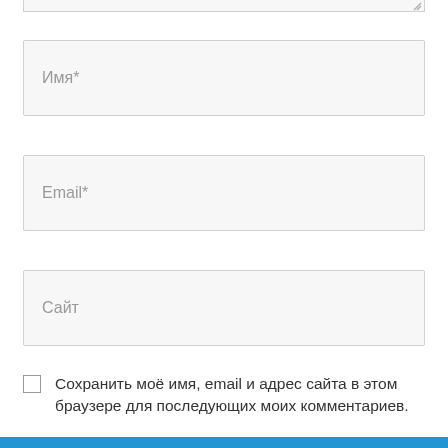[Figure (screenshot): Web form with input fields for name, email, site; a checkbox for saving browser data; and a submit button labeled 'Оставить комментарий »']
Имя*
Email*
Сайт
Сохранить моё имя, email и адрес сайта в этом браузере для последующих моих комментариев.
Оставить комментарий »